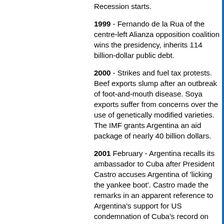Recession starts.
1999 - Fernando de la Rua of the centre-left Alianza opposition coalition wins the presidency, inherits 114 billion-dollar public debt.
2000 - Strikes and fuel tax protests. Beef exports slump after an outbreak of foot-and-mouth disease. Soya exports suffer from concerns over the use of genetically modified varieties. The IMF grants Argentina an aid package of nearly 40 billion dollars.
2001 February - Argentina recalls its ambassador to Cuba after President Castro accuses Argentina of 'licking the yankee boot'. Castro made the remarks in an apparent reference to Argentina's support for US condemnation of Cuba's record on human rights.
Argentina and the United Kingdom agree that vessels may now visit the Falkland Islands aga...
2001 March - President de la Rua forms a gov... appoints three finance ministers in as many w...